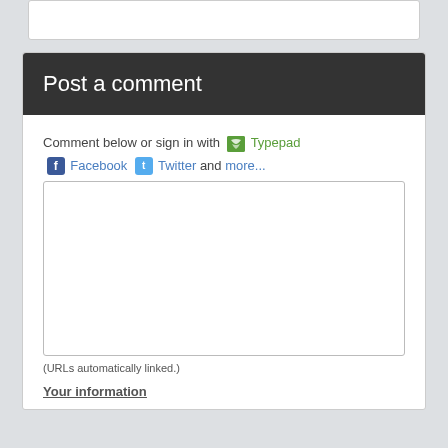Post a comment
Comment below or sign in with Typepad Facebook Twitter and more...
[Figure (screenshot): Empty comment text area input box]
(URLs automatically linked.)
Your information